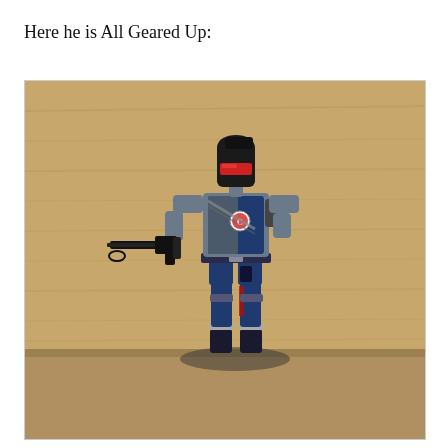Here he is All Geared Up:
[Figure (photo): A G.I. Joe / Cobra action figure standing upright, wearing a dark helmet with red visor, blue and gray military uniform with a Cobra insignia on the chest, holding a black automatic rifle in its left hand, right hand on hip. The figure has articulated joints and detailed accessories. Background is a warm wooden surface.]